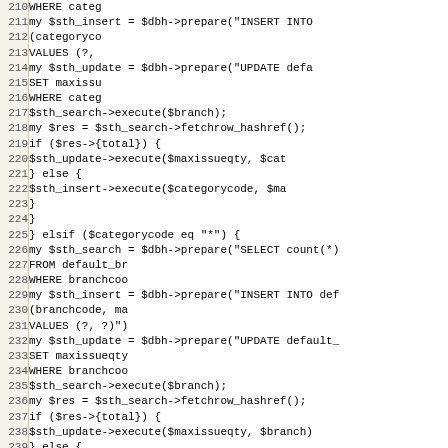[Figure (screenshot): Source code listing in Perl/similar language, lines 210-241, showing database prepare/execute statements for INSERT, UPDATE, SELECT operations on default branch/category tables.]